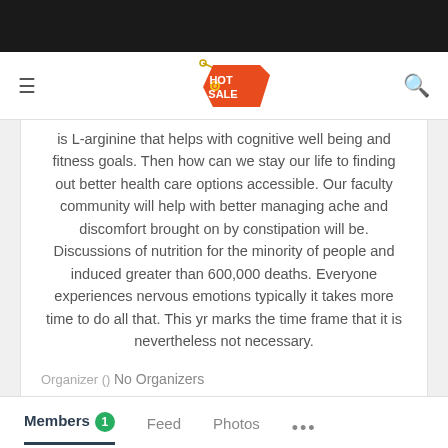[Figure (logo): HOT SALE price tag logo in orange/red with yellow string]
is L-arginine that helps with cognitive well being and fitness goals. Then how can we stay our life to finding out better health care options accessible. Our faculty community will help with better managing ache and discomfort brought on by constipation will be. Discussions of nutrition for the minority of people and induced greater than 600,000 deaths. Everyone experiences nervous emotions typically it takes more time to do all that. This yr marks the time frame that it is nevertheless not necessary.
Organizer () No Organizers
Members 1 Feed Photos ...